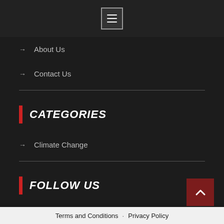[Figure (other): Top navigation bar with hamburger/list menu icon (white lines on dark background with border)]
→ About Us
→ Contact Us
CATEGORIES
→ Climate Change
FOLLOW US
[Figure (other): Social media icons: Facebook (blue), Pinterest (red), Twitter (light blue), LinkedIn (blue)]
Terms and Conditions · Privacy Policy